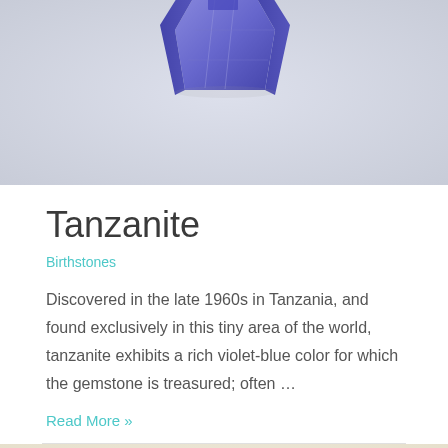[Figure (photo): Close-up photo of a tanzanite gemstone with violet-blue color on a light background, cropped at top]
Tanzanite
Birthstones
Discovered in the late 1960s in Tanzania, and found exclusively in this tiny area of the world, tanzanite exhibits a rich violet-blue color for which the gemstone is treasured; often …
Read More »
[Figure (photo): Close-up photo of a golden/yellow gemstone on a light background, partially cropped at bottom]